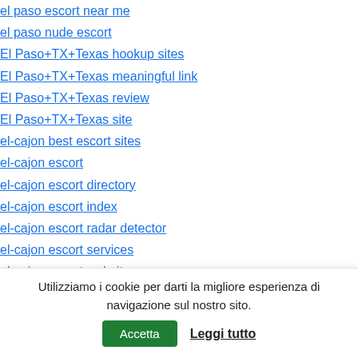el paso escort near me
el paso nude escort
El Paso+TX+Texas hookup sites
El Paso+TX+Texas meaningful link
El Paso+TX+Texas review
El Paso+TX+Texas site
el-cajon best escort sites
el-cajon escort
el-cajon escort directory
el-cajon escort index
el-cajon escort radar detector
el-cajon escort services
el-cajon escort website
el-cajon nude escort
el-cajon review
el-monte eros escort
Utilizziamo i cookie per darti la migliore esperienza di navigazione sul nostro sito.
Accetta | Leggi tutto